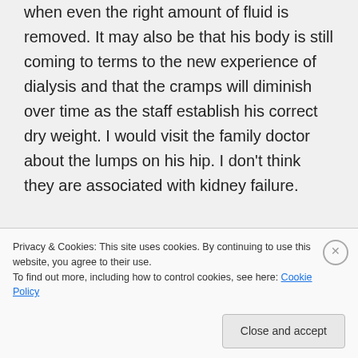when even the right amount of fluid is removed. It may also be that his body is still coming to terms to the new experience of dialysis and that the cramps will diminish over time as the staff establish his correct dry weight. I would visit the family doctor about the lumps on his hip. I don't think they are associated with kidney failure.

I know things are tough right now, but going on past experience, this is the worst of it.
Privacy & Cookies: This site uses cookies. By continuing to use this website, you agree to their use.
To find out more, including how to control cookies, see here: Cookie Policy